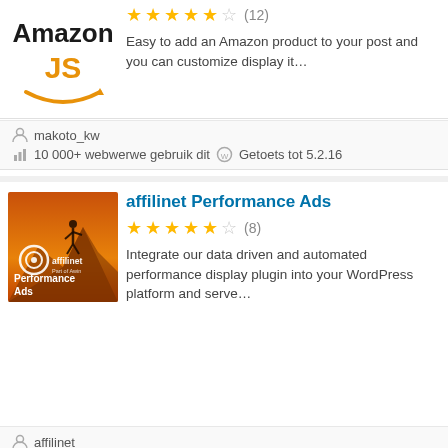[Figure (logo): Amazon JS plugin logo with orange Amazon wordmark and JS text]
[Figure (other): 4.5 star rating with 12 reviews]
Easy to add an Amazon product to your post and you can customize display it…
makoto_kw
10 000+ webwerwe gebruik dit  Getoets tot 5.2.16
affilinet Performance Ads
[Figure (photo): affilinet Performance Ads plugin logo showing a hiker on a mountain with affilinet branding]
[Figure (other): 4.5 star rating with 8 reviews]
Integrate our data driven and automated performance display plugin into your WordPress platform and serve…
affilinet
10 000+ webwerwe gebruik dit  Getoets tot 5.0.17